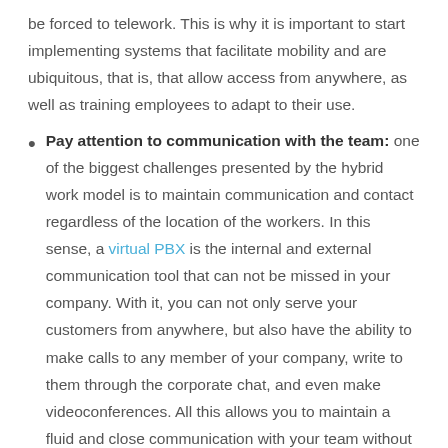be forced to telework. This is why it is important to start implementing systems that facilitate mobility and are ubiquitous, that is, that allow access from anywhere, as well as training employees to adapt to their use.
Pay attention to communication with the team: one of the biggest challenges presented by the hybrid work model is to maintain communication and contact regardless of the location of the workers. In this sense, a virtual PBX is the internal and external communication tool that can not be missed in your company. With it, you can not only serve your customers from anywhere, but also have the ability to make calls to any member of your company, write to them through the corporate chat, and even make videoconferences. All this allows you to maintain a fluid and close communication with your team without having to install anything